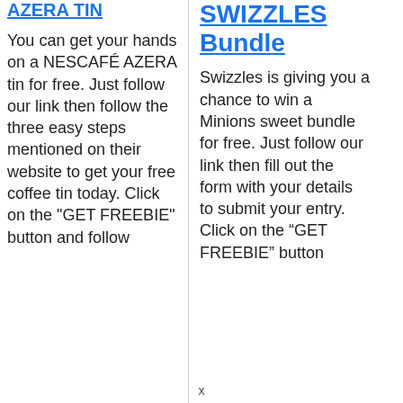AZERA TIN
You can get your hands on a NESCAFÉ AZERA tin for free. Just follow our link then follow the three easy steps mentioned on their website to get your free coffee tin today. Click on the "GET FREEBIE" button and follow
SWIZZLES Bundle
Swizzles is giving you a chance to win a Minions sweet bundle for free. Just follow our link then fill out the form with your details to submit your entry. Click on the “GET FREEBIE” button